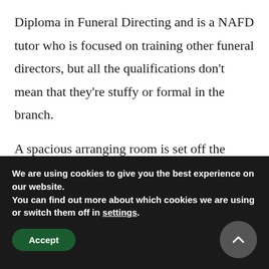Diploma in Funeral Directing and is a NAFD tutor who is focused on training other funeral directors, but all the qualifications don't mean that they're stuffy or formal in the branch.
A spacious arranging room is set off the reception area with the large dining table layout preferred by the company to allow clients to sit comfortably to discuss their funeral arrangements. Cups and plates and paperwork can be managed with ease with a large
We are using cookies to give you the best experience on our website.
You can find out more about which cookies we are using or switch them off in settings.